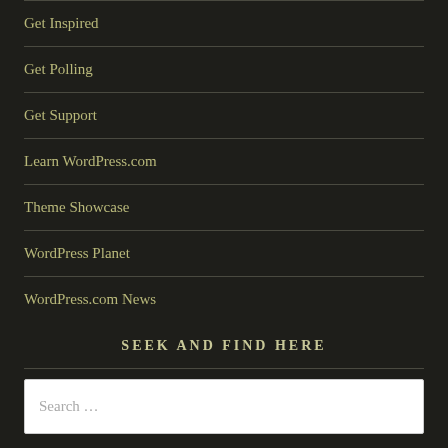Get Inspired
Get Polling
Get Support
Learn WordPress.com
Theme Showcase
WordPress Planet
WordPress.com News
SEEK AND FIND HERE
Search …